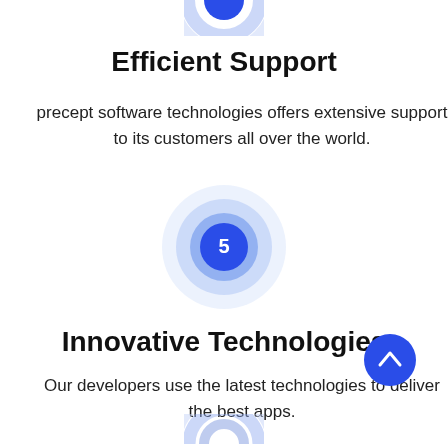[Figure (illustration): Partial blue concentric circles icon at top center (cropped from top)]
Efficient Support
precept software technologies offers extensive support to its customers all over the world.
[Figure (illustration): Blue concentric circles with number 5 in center blue circle]
Innovative Technologies
Our developers use the latest technologies to deliver the best apps.
[Figure (illustration): Blue circular scroll-to-top button with upward chevron arrow, bottom right]
[Figure (illustration): Partial blue concentric circles icon at bottom center (cropped at bottom)]